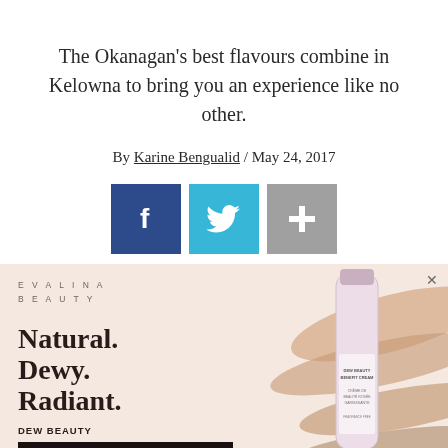The Okanagan's best flavours combine in Kelowna to bring you an experience like no other.
By Karine Bengualid / May 24, 2017
[Figure (other): Social sharing icons: Facebook (blue), Twitter (cyan), and a plus/share button (grey)]
[Figure (other): Advertisement for Evalina Beauty Dew Beauty Benefit Cream. Text reads: Natural. Dewy. Radiant. DEW BEAUTY BENEFIT CREAM. SHOP NOW button. Product tube shown on background with cream swatches.]